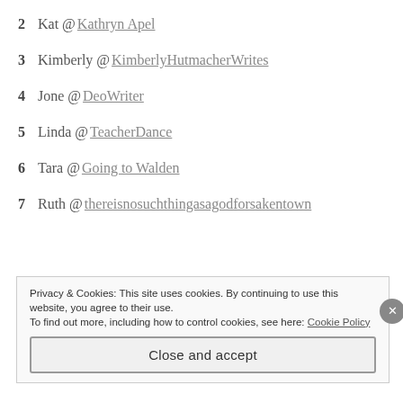2 Kat @Kathryn Apel
3 Kimberly @KimberlyHutmacherWrites
4 Jone @DeoWriter
5 Linda @TeacherDance
6 Tara @Going to Walden
7 Ruth @thereisnosuchthingasagodforsakentown
Privacy & Cookies: This site uses cookies. By continuing to use this website, you agree to their use.
To find out more, including how to control cookies, see here: Cookie Policy
Close and accept